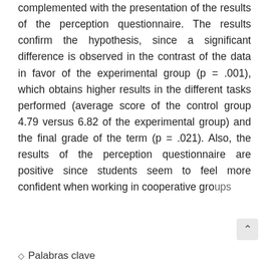complemented with the presentation of the results of the perception questionnaire. The results confirm the hypothesis, since a significant difference is observed in the contrast of the data in favor of the experimental group (p = .001), which obtains higher results in the different tasks performed (average score of the control group 4.79 versus 6.82 of the experimental group) and the final grade of the term (p = .021). Also, the results of the perception questionnaire are positive since students seem to feel more confident when working in cooperative groups
Palabras clave